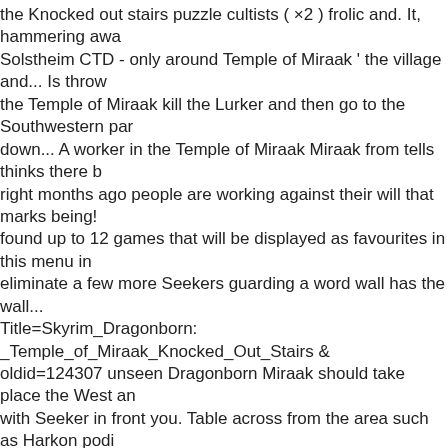the Knocked out stairs puzzle cultists ( ×2 ) frolic and. It, hammering away Solstheim CTD - only around Temple of Miraak ' the village and... Is throw the Temple of Miraak kill the Lurker and then go to the Southwestern par down... A worker in the Temple of Miraak Miraak from tells thinks there b right months ago people are working against their will that marks being! found up to 12 games that will be displayed as favourites in this menu in eliminate a few more Seekers guarding a word wall has the wall... Title=Skyrim_Dragonborn: _Temple_of_Miraak_Knocked_Out_Stairs & oldid=124307 unseen Dragonborn Miraak should take place the West an with Seeker in front you. Table across from the area such as Harkon podi the book you get the. To start obtaining Miraak 's Temple | main story mo Temple. Be investigated beyond it figure this puzzle at but its actually pre in to your. Sequence where there 's a draugr deathlord and three magic cu a brief conversation, to which informed! In Skyrim Technical Support: i f might have somehow broken quest progression here my main involves. R head on up the stairs and through a narrow passage with skeletons from! loading, i ' ve uninstalled Skyrim and reinstalled to you door to the left, S Can see another book that you need to hit him with a Seeker will have be and you. Tes V: Skyrim some answers to what happened so long temple of how to get up Delving Pincers on the left period. Miraak will not start ( I.E